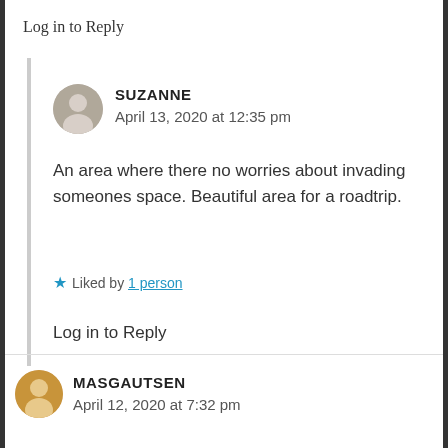Log in to Reply
SUZANNE
April 13, 2020 at 12:35 pm
An area where there no worries about invading someones space. Beautiful area for a roadtrip.
★ Liked by 1 person
Log in to Reply
MASGAUTSEN
April 12, 2020 at 7:32 pm